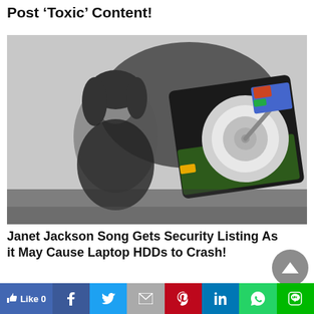Post ‘Toxic’ Content!
[Figure (photo): Black and white photo of Janet Jackson posing, with an open laptop hard disk drive (HDD) shown in color on the right side of the image]
Janet Jackson Song Gets Security Listing As it May Cause Laptop HDDs to Crash!
[Figure (screenshot): Partial view of a dark-themed article or video content below the headline]
Like 0 | Facebook | Twitter | Mail | Pinterest | LinkedIn | WhatsApp | Line